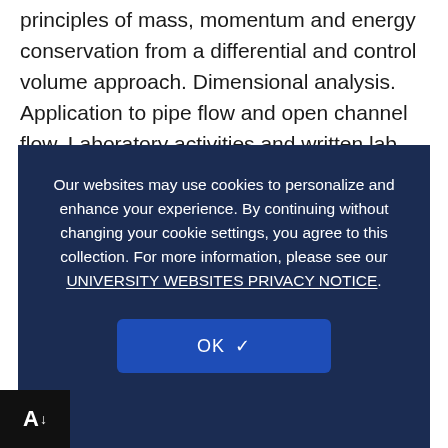principles of mass, momentum and energy conservation from a differential and control volume approach. Dimensional analysis. Application to pipe flow and open channel flow. Laboratory activities and written lab reports.
View Classes »
3193...
1.00 - 6.00 credits
Prerequisites: None.
Grading Basis: Gra...
Our websites may use cookies to personalize and enhance your experience. By continuing without changing your cookie settings, you agree to this collection. For more information, please see our UNIVERSITY WEBSITES PRIVACY NOTICE.